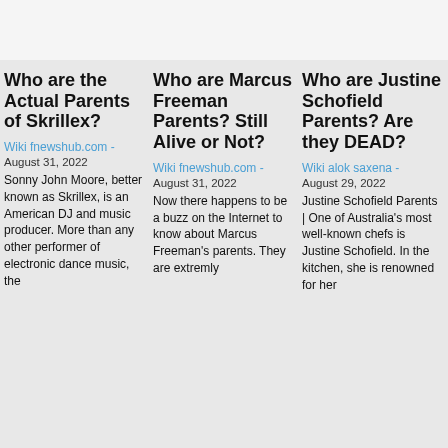Who are the Actual Parents of Skrillex?
Wiki fnewshub.com - August 31, 2022
Sonny John Moore, better known as Skrillex, is an American DJ and music producer. More than any other performer of electronic dance music, the
Who are Marcus Freeman Parents? Still Alive or Not?
Wiki fnewshub.com - August 31, 2022
Now there happens to be a buzz on the Internet to know about Marcus Freeman's parents. They are extremly
Who are Justine Schofield Parents? Are they DEAD?
Wiki alok saxena - August 29, 2022
Justine Schofield Parents | One of Australia's most well-known chefs is Justine Schofield. In the kitchen, she is renowned for her